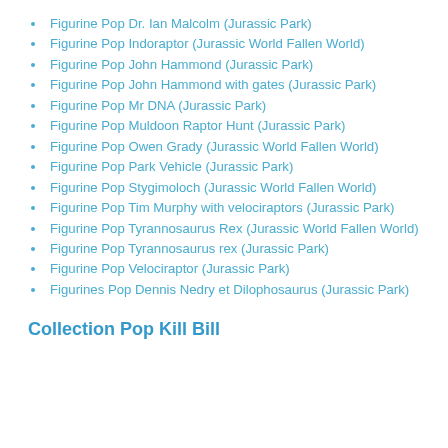Figurine Pop Dr. Ian Malcolm (Jurassic Park)
Figurine Pop Indoraptor (Jurassic World Fallen World)
Figurine Pop John Hammond (Jurassic Park)
Figurine Pop John Hammond with gates (Jurassic Park)
Figurine Pop Mr DNA (Jurassic Park)
Figurine Pop Muldoon Raptor Hunt (Jurassic Park)
Figurine Pop Owen Grady (Jurassic World Fallen World)
Figurine Pop Park Vehicle (Jurassic Park)
Figurine Pop Stygimoloch (Jurassic World Fallen World)
Figurine Pop Tim Murphy with velociraptors (Jurassic Park)
Figurine Pop Tyrannosaurus Rex (Jurassic World Fallen World)
Figurine Pop Tyrannosaurus rex (Jurassic Park)
Figurine Pop Velociraptor (Jurassic Park)
Figurines Pop Dennis Nedry et Dilophosaurus (Jurassic Park)
Collection Pop Kill Bill